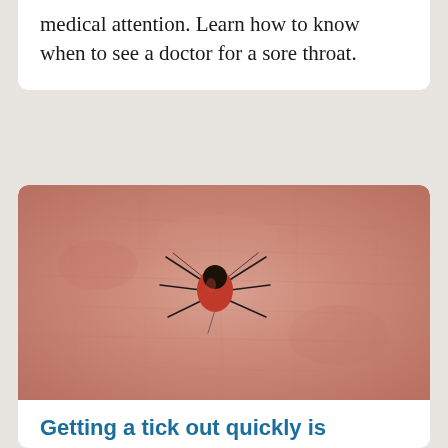medical attention. Learn how to know when to see a doctor for a sore throat.
[Figure (photo): Close-up photograph of a tick on human skin. The tick has a red and black body with multiple dark legs spread outward, embedded or resting on pale pinkish human skin with visible texture and fine lines.]
Getting a tick out quickly is top priority
Ask the Doctors answers a few of your